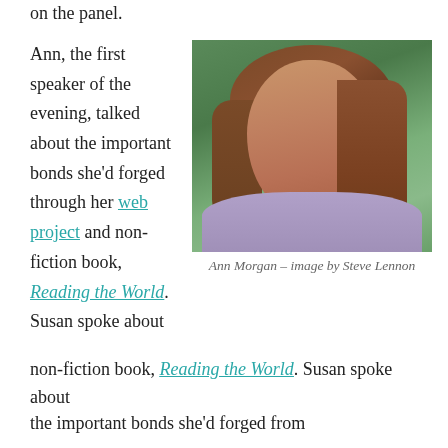on the panel.
Ann, the first speaker of the evening, talked about the important bonds she'd forged through her web project and non-fiction book, Reading the World. Susan spoke about the important bonds she'd forged from
[Figure (photo): Portrait photo of Ann Morgan, a woman with auburn/brown hair, pale complexion, wearing a lavender top, photographed outdoors in front of green foliage.]
Ann Morgan – image by Steve Lennon